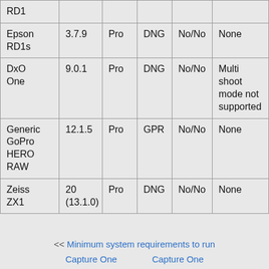| Camera | Version | Edition | Format | HDR/HDR Merge | Notes |
| --- | --- | --- | --- | --- | --- |
| RD1 |  |  |  |  |  |
| Epson RD1s | 3.7.9 | Pro | DNG | No/No | None |
| DxO One | 9.0.1 | Pro | DNG | No/No | Multi shoot mode not supported |
| Generic GoPro HERO RAW | 12.1.5 | Pro | GPR | No/No | None |
| Zeiss ZX1 | 20 (13.1.0) | Pro | DNG | No/No | None |
<< Minimum system requirements to run Capture One...